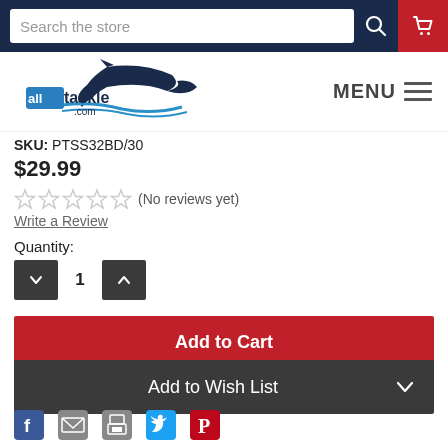Search the store
[Figure (logo): alltackle.com logo with marlin fish graphic]
SKU: PTSS32BD/30
$29.99
(No reviews yet)
Write a Review
Quantity:
1
Add to Cart
Add to Wish List